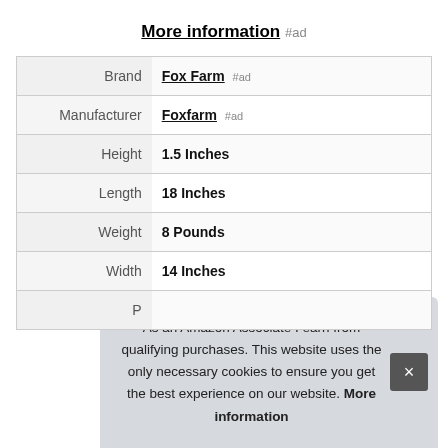More information #ad
| Label | Value |
| --- | --- |
| Brand | Fox Farm #ad |
| Manufacturer | Foxfarm #ad |
| Height | 1.5 Inches |
| Length | 18 Inches |
| Weight | 8 Pounds |
| Width | 14 Inches |
| P |  |
As an Amazon Associate I earn from qualifying purchases. This website uses the only necessary cookies to ensure you get the best experience on our website. More information